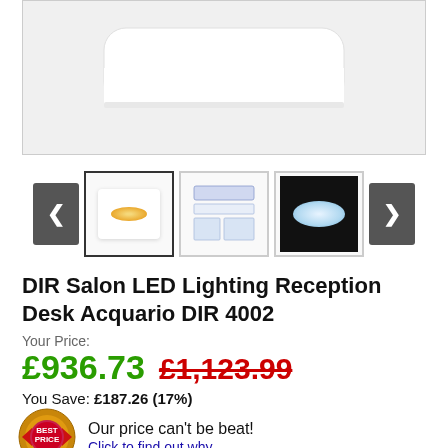[Figure (photo): Main product image area showing a white reception desk with rounded top edge on light grey background]
[Figure (photo): Thumbnail image carousel with left/right arrows and 3 thumbnail images: 1) lit white box with amber oval glow, 2) technical diagram/spec drawing of desk, 3) oval light on black background]
DIR Salon LED Lighting Reception Desk Acquario DIR 4002
Your Price:
£936.73  £1,123.99
You Save: £187.26 (17%)
Our price can't be beat! Click to find out why